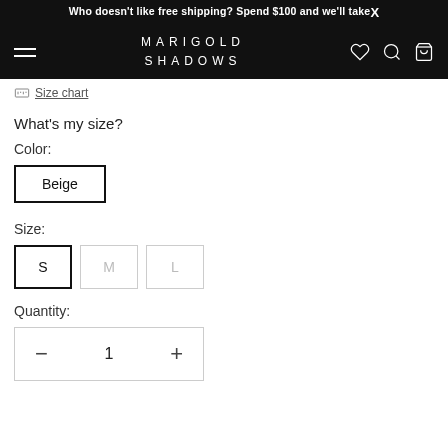Who doesn't like free shipping? Spend $100 and we'll takeX
MARIGOLD SHADOWS
Size chart
What's my size?
Color:
Beige
Size:
S
M
L
Quantity:
− 1 +